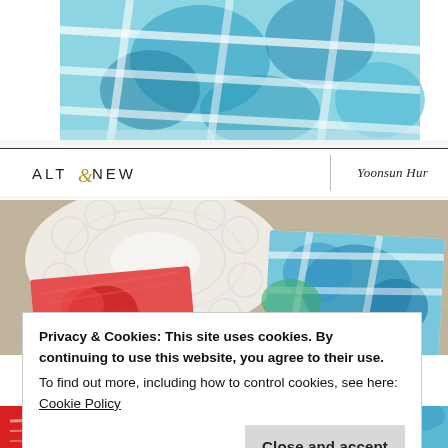[Figure (photo): Close-up photo of blue watercolor floral/tile pattern on paper or card, with white outlines, on a white background. Partially cropped at top.]
ALTENEW | Yoonsun Hur
[Figure (photo): Photo showing craft cards on a linen/burlap surface: a white crochet doily on the left, a red floral card in the lower left, and blue/green/teal watercolor floral cards on the right.]
Privacy & Cookies: This site uses cookies. By continuing to use this website, you agree to their use.
To find out more, including how to control cookies, see here: Cookie Policy
[Figure (photo): Bottom strip showing partial view of two cards: left card with handwritten text 'thanks' in red and white, right card with floral pattern and text 'MAKES A BIG DIFFERENCE THAT YOU DO ACE IN MY LIFE'.]